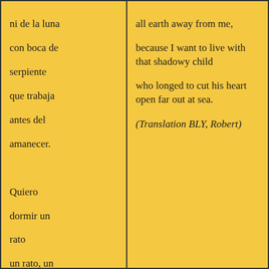ni de la luna
con boca de
serpiente
que trabaja
antes del
amanecer.

Quiero
dormir un
rato
un rato, un
minuto, un
siglo;
pero que
todos sepan
que no he
muerto;
que hay un
establo de
oro en mis
labios;
que soy el
all earth away from me,
because I want to live with that shadowy child
who longed to cut his heart open far out at sea.
(Translation BLY, Robert)